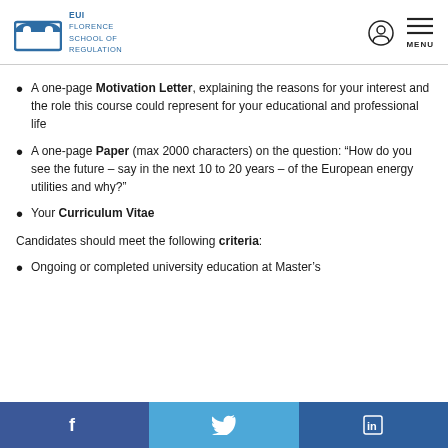EUI Florence School of Regulation
A one-page Motivation Letter, explaining the reasons for your interest and the role this course could represent for your educational and professional life
A one-page Paper (max 2000 characters) on the question: “How do you see the future – say in the next 10 to 20 years – of the European energy utilities and why?”
Your Curriculum Vitae
Candidates should meet the following criteria:
Ongoing or completed university education at Master’s
Facebook | Twitter | LinkedIn